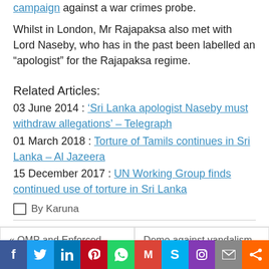campaign against a war crimes probe.
Whilst in London, Mr Rajapaksa also met with Lord Naseby, who has in the past been labelled an “apologist” for the Rajapaksa regime.
Related Articles:
03 June 2014 : ‘Sri Lanka apologist Naseby must withdraw allegations’ – Telegraph
01 March 2018 : Torture of Tamils continues in Sri Lanka – Al Jazeera
15 December 2017 : UN Working Group finds continued use of torture in Sri Lanka
By Karuna
« OMP and Enforced
Demo against vandalism of